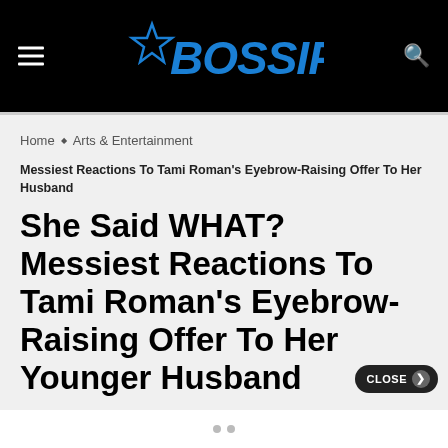BOSSIP
Home ◆ Arts & Entertainment
Messiest Reactions To Tami Roman's Eyebrow-Raising Offer To Her Husband
She Said WHAT? Messiest Reactions To Tami Roman's Eyebrow-Raising Offer To Her Younger Husband